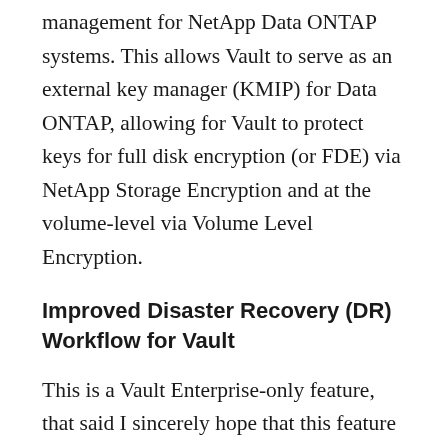management for NetApp Data ONTAP systems. This allows Vault to serve as an external key manager (KMIP) for Data ONTAP, allowing for Vault to protect keys for full disk encryption (or FDE) via NetApp Storage Encryption and at the volume-level via Volume Level Encryption.
Improved Disaster Recovery (DR) Workflow for Vault
This is a Vault Enterprise-only feature, that said I sincerely hope that this feature flows down to the open source solution. Prior to Vault 1.4, in the event of a Disaster Recovery (DR) Primary cluster going down, promoting the DR Secondary cluster required the generation of a DR operation token